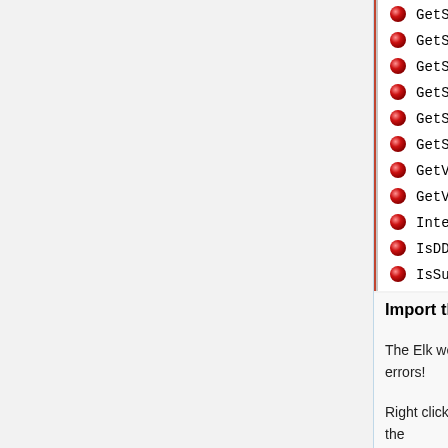[Figure (screenshot): A screenshot of a NetBeans IDE panel showing a list of WSDL operations with red dot icons: GetSMTPConfig, GetSceneProfiles, GetStartupTime, GetSystemDateTime, GetSystemOptions, GetSystemStatus, GetVariable, GetVariables, InternetAccess, IsDDNSHostAvail, IsSubscribed, MoveNode. Line numbers 23-31 are visible on the right side. A horizontal scrollbar and partial Output panel with green arrow buttons are also visible.]
Import the ELK WSDL file
The Elk web services definition file imports without any of these type/element errors!
Right click on the NetBeans project and click New Web Service Client and point it to the